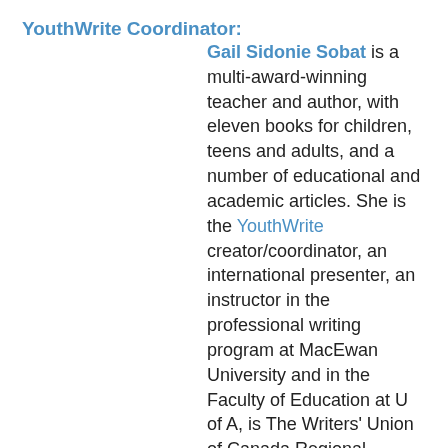YouthWrite Coordinator:
Gail Sidonie Sobat is a multi-award-winning teacher and author, with eleven books for children, teens and adults, and a number of educational and academic articles. She is the YouthWrite creator/coordinator, an international presenter, an instructor in the professional writing program at MacEwan University and in the Faculty of Education at U of A, is The Writers' Union of Canada Regional Representative for Alberta, NWT and Nunavut, and was writer in residence with the Metro Edmonton Federation of Libraries (2015). Gail is a 2016-2017 Global News